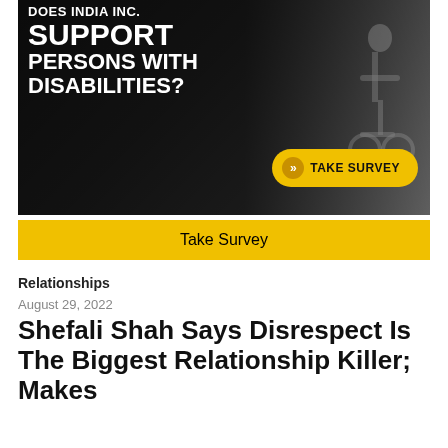[Figure (illustration): Advertisement banner with dark overlay showing a person in a wheelchair scene. Bold white text reads 'DOES INDIA INC. SUPPORT PERSONS WITH DISABILITIES?' with a yellow 'TAKE SURVEY' button on the right side.]
Take Survey
Relationships
August 29, 2022
Shefali Shah Says Disrespect Is The Biggest Relationship Killer; Makes